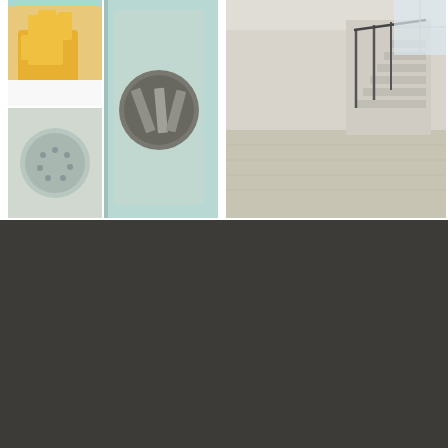[Figure (photo): Collage of cleaning/restoration images: yellow rubber gloves on white surface (top-left), industrial cleaning drum/cylinder with metal parts (right of gloves), lower left shows washing machine or industrial cleaner interior]
[Figure (photo): Clean basement or room interior with light carpet, staircase with black metal railings visible in background, bright and airy space]
EXPERIENCE RENOVCO
Renovco has a smartly identifiable Unique Concept. From emergency work reconstruction, content handling and cleaning warehousing, mold remediation, Ozone treatment, and Fire-line system to a distribution channel and one stop shop for design services. This clever solution is translating to become, not only an exclusive competency that Renovco enjoys, but also a profound peace of mind feature that clients treasure.